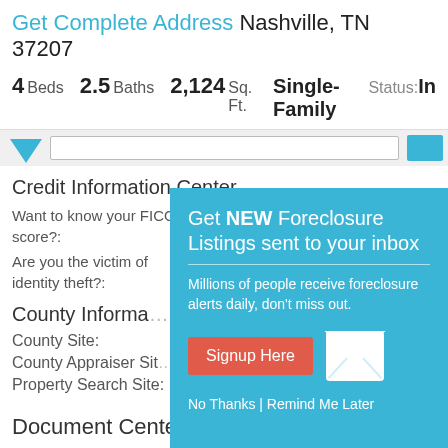Get Complete Address Nashville, TN 37207
4 Beds  2.5 Baths  2,124 Sq. Ft.  Single-Family  Status: In…
[Figure (screenshot): Navigation bar with blue arrow, search input, and blue button]
Credit Information Center
Want to know your FICO score?:
Are you the victim of identity theft?:
[Figure (infographic): Teal modal overlay: Get NEW Foreclosure Listings sent to your inbox. Millions of people receive foreclosure alerts daily, don't miss out. Signup Here button. No Thanks | Remind Me Later.]
County Information
County Site:
County Appraiser Site:
Property Search Site:
Document Center